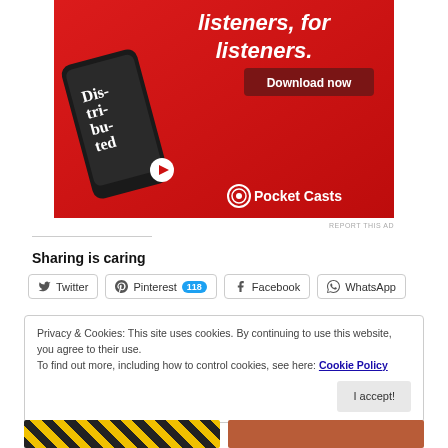[Figure (photo): Pocket Casts advertisement showing a smartphone with the app open, text 'listeners, for listeners.' and a Download now button on a red background with Pocket Casts logo]
REPORT THIS AD
Sharing is caring
Twitter  Pinterest 118  Facebook  WhatsApp
Privacy & Cookies: This site uses cookies. By continuing to use this website, you agree to their use. To find out more, including how to control cookies, see here: Cookie Policy
I accept!
[Figure (photo): Two thumbnail images at the bottom of the page - left shows yellow and black hazard stripes, right shows a brownish image]